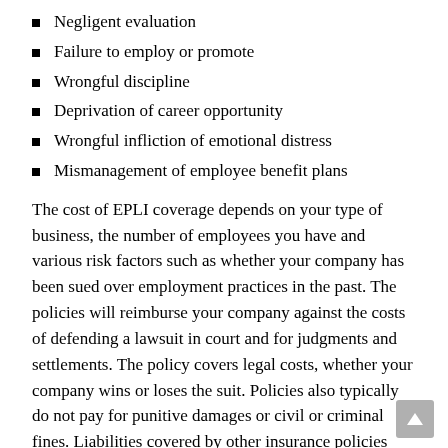Negligent evaluation
Failure to employ or promote
Wrongful discipline
Deprivation of career opportunity
Wrongful infliction of emotional distress
Mismanagement of employee benefit plans
The cost of EPLI coverage depends on your type of business, the number of employees you have and various risk factors such as whether your company has been sued over employment practices in the past. The policies will reimburse your company against the costs of defending a lawsuit in court and for judgments and settlements. The policy covers legal costs, whether your company wins or loses the suit. Policies also typically do not pay for punitive damages or civil or criminal fines. Liabilities covered by other insurance policies such as workers compensation are excluded from EPLI policies.
To prevent employee lawsuits, educate your managers and